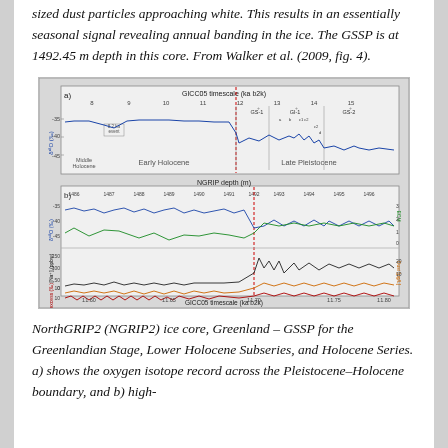sized dust particles approaching white. This results in an essentially seasonal signal revealing annual banding in the ice. The GSSP is at 1492.45 m depth in this core. From Walker et al. (2009, fig. 4).
[Figure (continuous-plot): Two-panel figure showing NorthGRIP2 (NGRIP2) ice core data. Panel a) shows the oxygen isotope record (delta 18O) on the GICC05 timescale (ka b2k) from about 8 to 15 ka b2k, spanning the Middle Holocene, Early Holocene, and Late Pleistocene including GS-1, GI-1, and GS-2 stadials. A red dashed vertical line marks the Pleistocene-Holocene boundary at ~11.70 ka. Panel b) shows a zoomed-in view of NGRIP depth ~1486-1496 m (GICC05 timescale 11.60-11.80 ka b2k) with multiple proxies: blue line (delta 18O), green line (ECM), black line (Na+ concentration in ppbw), orange line (dust/Ca), and red line (d-excess), all with a red dashed vertical line at the GSSP boundary depth of 1492.45 m.]
NorthGRIP2 (NGRIP2) ice core, Greenland – GSSP for the Greenlandian Stage, Lower Holocene Subseries, and Holocene Series. a) shows the oxygen isotope record across the Pleistocene–Holocene boundary, and b) high-